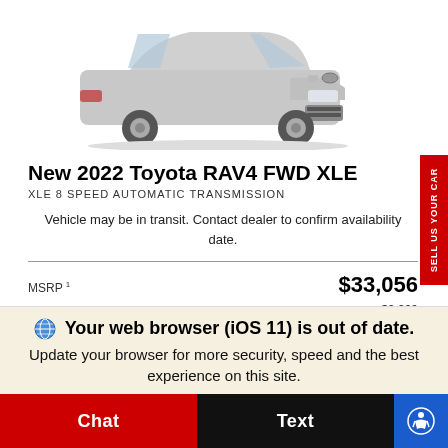[Figure (photo): Front 3/4 view of a gray 2022 Toyota RAV4 SUV on white background]
New 2022 Toyota RAV4 FWD XLE
XLE 8 SPEED AUTOMATIC TRANSMISSION
Vehicle may be in transit. Contact dealer to confirm availability date.
| Label | Value |
| --- | --- |
| MSRP 1 | $33,056 |
| Dealer Price Adjustment | +$9,999 |
Your web browser (iOS 11) is out of date. Update your browser for more security, speed and the best experience on this site.
Chat | Text